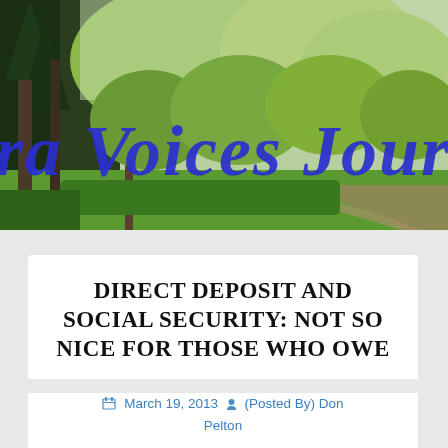[Figure (photo): Outdoor park scene with trees and green lawn; 'ra Voices Jour' text overlay in large bold blue italic letters across the banner image (partial view of 'Sierra Voices Journal' masthead)]
DIRECT DEPOSIT AND SOCIAL SECURITY: NOT SO NICE FOR THOSE WHO OWE
March 19, 2013 (Posted By) Don Pelton